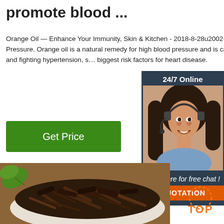promote blood ...
Orange Oil — Enhance Your Immunity, Skin & Kitchen - 2018-8-28u2002·u20024. Lower Blood Pressure. Orange oil is a natural remedy for high blood pressure and is capable of improving blood flow and fighting hypertension, s… biggest risk factors for heart disease.
[Figure (illustration): Green button labeled 'Get Price']
[Figure (photo): 24/7 Online chat widget with a woman wearing a headset, smiling. Includes 'Click here for free chat!' text and an orange QUOTATION button.]
[Figure (photo): Photo of dark brown dried herbs/bark pieces in a white bowl, with green leaves visible in the background. TOP logo watermark visible at bottom right.]